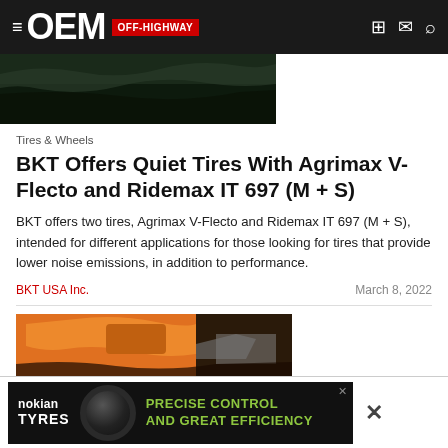OEM OFF-HIGHWAY
[Figure (photo): Dark landscape with grass and field, partial view of agricultural tire/equipment on left side]
Tires & Wheels
BKT Offers Quiet Tires With Agrimax V-Flecto and Ridemax IT 697 (M + S)
BKT offers two tires, Agrimax V-Flecto and Ridemax IT 697 (M + S), intended for different applications for those looking for tires that provide lower noise emissions, in addition to performance.
BKT USA Inc.
March 8, 2022
[Figure (photo): Orange/yellow heavy construction equipment or tractor in a grassy field, partial view]
[Figure (photo): Nokian Tyres advertisement banner: tire image with text PRECISE CONTROL AND GREAT EFFICIENCY]